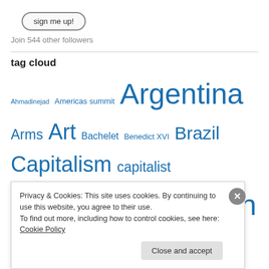[Figure (other): Button with rounded border labeled 'sign me up!']
Join 544 other followers
tag cloud
Ahmadinejad Americas summit Argentina Arms Art Bachelet Benedict XVI Brazil Capitalism capitalist Caricature cartoon Castro Chavez Chile China
Privacy & Cookies: This site uses cookies. By continuing to use this website, you agree to their use.
To find out more, including how to control cookies, see here: Cookie Policy
Close and accept